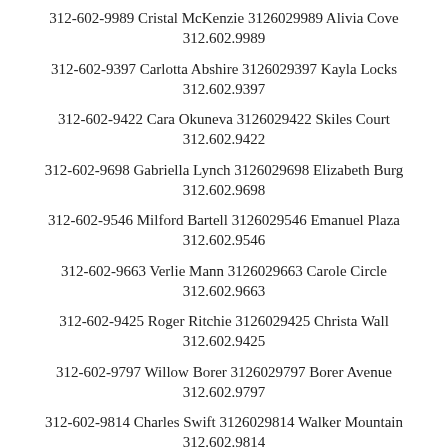312-602-9989 Cristal McKenzie 3126029989 Alivia Cove 312.602.9989
312-602-9397 Carlotta Abshire 3126029397 Kayla Locks 312.602.9397
312-602-9422 Cara Okuneva 3126029422 Skiles Court 312.602.9422
312-602-9698 Gabriella Lynch 3126029698 Elizabeth Burg 312.602.9698
312-602-9546 Milford Bartell 3126029546 Emanuel Plaza 312.602.9546
312-602-9663 Verlie Mann 3126029663 Carole Circle 312.602.9663
312-602-9425 Roger Ritchie 3126029425 Christa Wall 312.602.9425
312-602-9797 Willow Borer 3126029797 Borer Avenue 312.602.9797
312-602-9814 Charles Swift 3126029814 Walker Mountain 312.602.9814